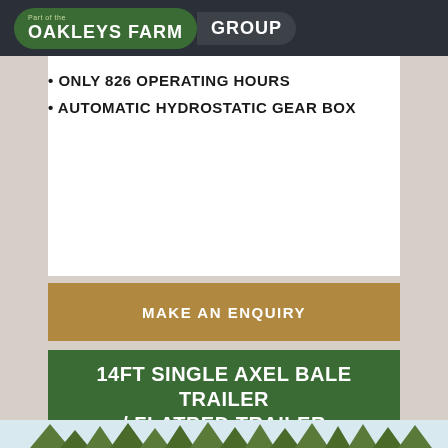Part of the OAKLEYS FARM GROUP
ONLY 826 OPERATING HOURS
AUTOMATIC HYDROSTATIC GEAR BOX
MAKE AN ENQUIRY
14FT SINGLE AXEL BALE TRAILER / FLATBED TRAILER
[Figure (photo): Outdoor photo showing trees against sky, bottom strip of page]